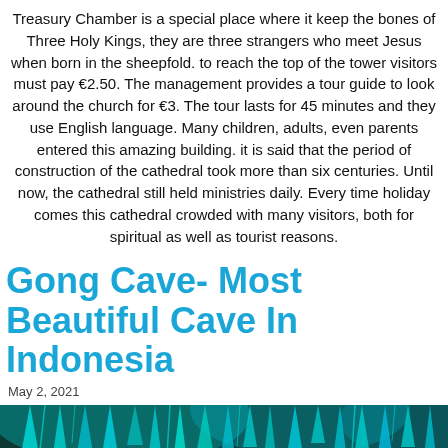Treasury Chamber is a special place where it keep the bones of Three Holy Kings, they are three strangers who meet Jesus when born in the sheepfold. to reach the top of the tower visitors must pay €2.50. The management provides a tour guide to look around the church for €3. The tour lasts for 45 minutes and they use English language. Many children, adults, even parents entered this amazing building. it is said that the period of construction of the cathedral took more than six centuries. Until now, the cathedral still held ministries daily. Every time holiday comes this cathedral crowded with many visitors, both for spiritual as well as tourist reasons.
Gong Cave- Most Beautiful Cave In Indonesia
May 2, 2021
[Figure (photo): Interior of Gong Cave in Indonesia showing colorful stalactites and stalagmites illuminated with teal/green and orange lighting]